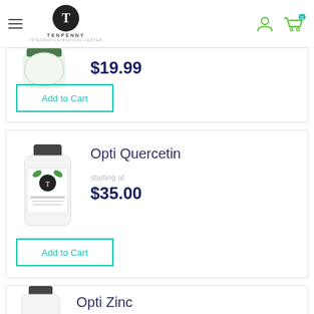[Figure (logo): Tenpenny Integrative Medical Center logo with black circle T and hamburger menu]
$19.99
Add to Cart
Opti Quercetin
starting at
$35.00
Add to Cart
Opti Zinc